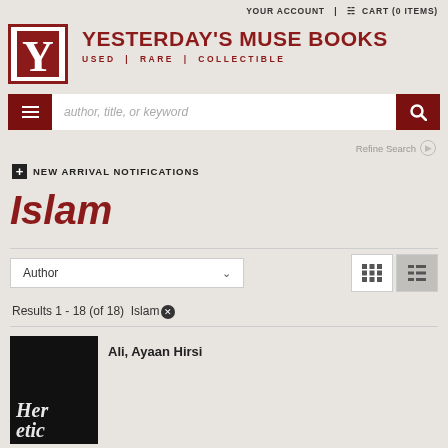YOUR ACCOUNT | CART (0 ITEMS)
[Figure (logo): Yesterday's Muse Books logo with stylized Y in red square]
YESTERDAY'S MUSE BOOKS
USED | RARE | COLLECTIBLE
author, title, or keyword (search bar)
Refine Search
+ NEW ARRIVAL NOTIFICATIONS
Islam
Author
Results 1 - 18 (of 18)  Islam ✕
Ali, Ayaan Hirsi